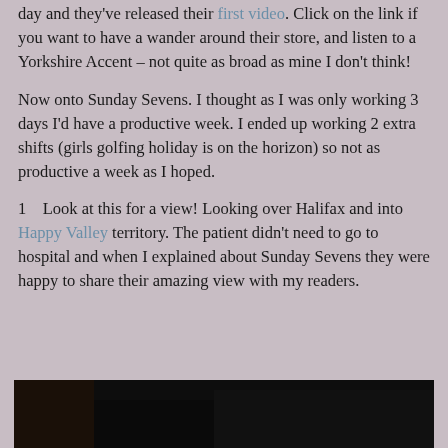day and they've released their first video.  Click on the link if you want to have a wander around their store, and listen to a Yorkshire Accent – not quite as broad as mine I don't think!
Now onto Sunday Sevens.  I thought as I was only working 3 days I'd have a productive week.  I ended up working 2 extra shifts (girls golfing holiday is on the horizon) so not as productive a week as I hoped.
1    Look at this for a view!  Looking over Halifax and into Happy Valley territory.  The patient didn't need to go to hospital and when I explained about Sunday Sevens they were happy to share their amazing view with my readers.
[Figure (photo): Dark photograph partially visible at the bottom of the page, showing a view outdoors.]